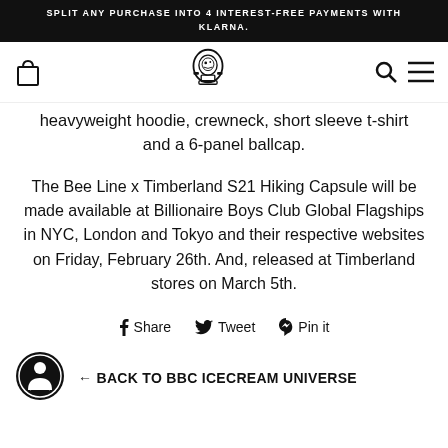SPLIT ANY PURCHASE INTO 4 INTEREST-FREE PAYMENTS WITH KLARNA.
[Figure (logo): Navigation bar with shopping bag icon, astronaut logo, search icon, and hamburger menu]
heavyweight hoodie, crewneck, short sleeve t-shirt and a 6-panel ballcap.
The Bee Line x Timberland S21 Hiking Capsule will be made available at Billionaire Boys Club Global Flagships in NYC, London and Tokyo and their respective websites on Friday, February 26th. And, released at Timberland stores on March 5th.
Share  Tweet  Pin it
← BACK TO BBC ICECREAM UNIVERSE